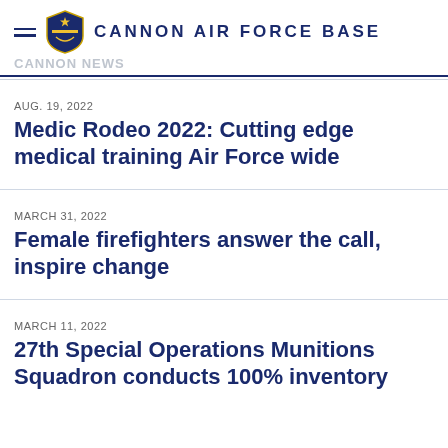CANNON AIR FORCE BASE
CANNON NEWS
AUG. 19, 2022
Medic Rodeo 2022: Cutting edge medical training Air Force wide
MARCH 31, 2022
Female firefighters answer the call, inspire change
MARCH 11, 2022
27th Special Operations Munitions Squadron conducts 100% inventory